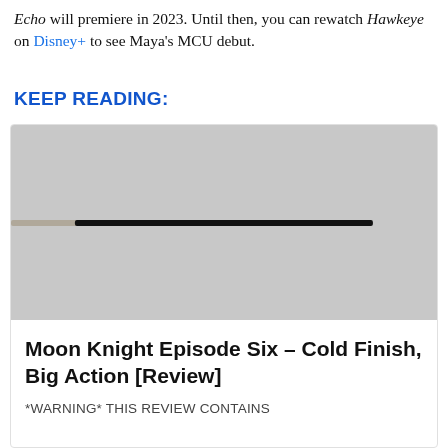Echo will premiere in 2023. Until then, you can rewatch Hawkeye on Disney+ to see Maya's MCU debut.
KEEP READING:
[Figure (photo): A dark horizontal bar over a grey background, partial movie/show image thumbnail]
Moon Knight Episode Six – Cold Finish, Big Action [Review]
*WARNING* THIS REVIEW CONTAINS